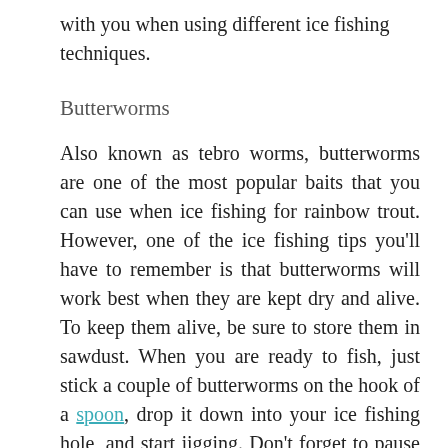with you when using different ice fishing techniques.
Butterworms
Also known as tebro worms, butterworms are one of the most popular baits that you can use when ice fishing for rainbow trout. However, one of the ice fishing tips you'll have to remember is that butterworms will work best when they are kept dry and alive. To keep them alive, be sure to store them in sawdust. When you are ready to fish, just stick a couple of butterworms on the hook of a spoon, drop it down into your ice fishing hole, and start jigging. Don't forget to pause occasionally so that the fish can take your bait.
Waxworms
As they resemble...